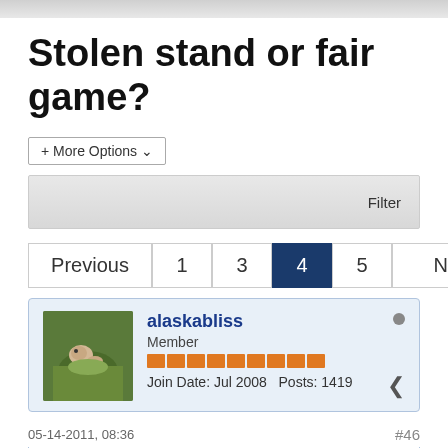Stolen stand or fair game?
+ More Options ∨
Filter
Previous  1  3  4  5  Next
alaskabliss
Member
Join Date: Jul 2008   Posts: 1419
05-14-2011, 08:36
#46